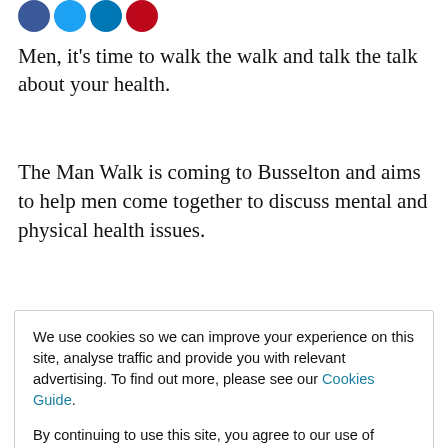[Figure (illustration): Four social media icon circles: Facebook (blue), Twitter (light blue), LinkedIn (dark blue), Pinterest (purple/dark red)]
Men, it's time to walk the walk and talk the talk about your health.
The Man Walk is coming to Busselton and aims to help men come together to discuss mental and physical health issues.
We use cookies so we can improve your experience on this site, analyse traffic and provide you with relevant advertising. To find out more, please see our Cookies Guide.

By continuing to use this site, you agree to our use of cookies.
Busselton and Dunsborough.